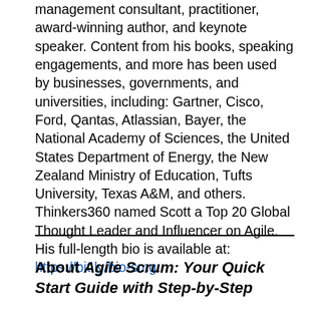management consultant, practitioner, award-winning author, and keynote speaker. Content from his books, speaking engagements, and more has been used by businesses, governments, and universities, including: Gartner, Cisco, Ford, Qantas, Atlassian, Bayer, the National Academy of Sciences, the United States Department of Energy, the New Zealand Ministry of Education, Tufts University, Texas A&M, and others. Thinkers360 named Scott a Top 20 Global Thought Leader and Influencer on Agile. His full-length bio is available at: https://bit.ly/bio-smg.
About Agile Scrum: Your Quick Start Guide with Step-by-Step